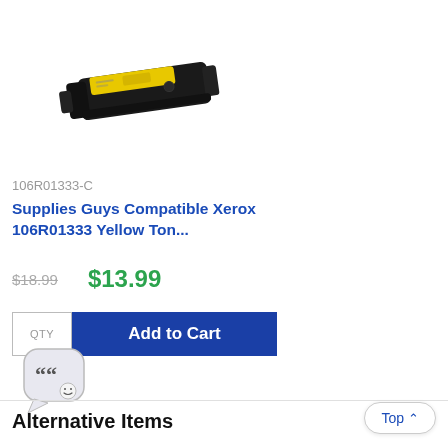[Figure (photo): Yellow and black toner cartridge (Xerox 106R01333 compatible) viewed from side angle, showing yellow label on top and black body]
106R01333-C
Supplies Guys Compatible Xerox 106R01333 Yellow Ton...
$18.99  $13.99
QTY  Add to Cart
[Figure (illustration): Chat bubble icon with quotation marks and smiley face]
Alternative Items
Top ^